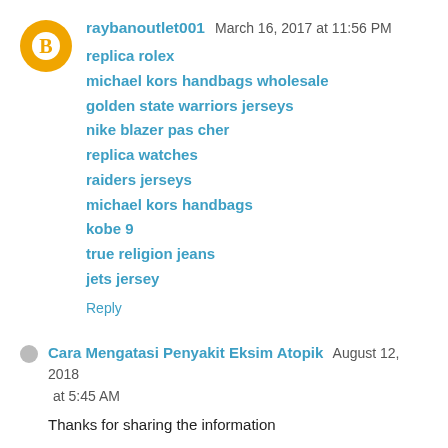raybanoutlet001  March 16, 2017 at 11:56 PM
replica rolex
michael kors handbags wholesale
golden state warriors jerseys
nike blazer pas cher
replica watches
raiders jerseys
michael kors handbags
kobe 9
true religion jeans
jets jersey
Reply
Cara Mengatasi Penyakit Eksim Atopik  August 12, 2018 at 5:45 AM
Thanks for sharing the information
Khasiat QnC Jelly Gamat
pengobatan penyakit liver dengan obat herbal alami